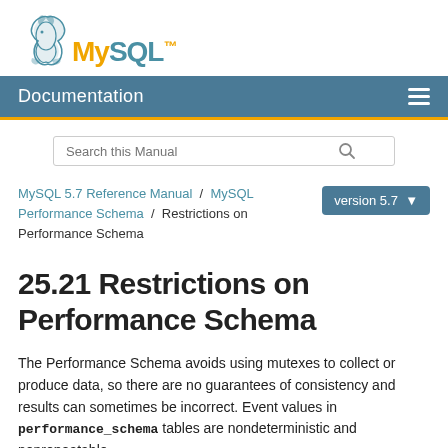[Figure (logo): MySQL dolphin and text logo]
Documentation
Search this Manual
MySQL 5.7 Reference Manual / MySQL Performance Schema / Restrictions on Performance Schema
25.21 Restrictions on Performance Schema
The Performance Schema avoids using mutexes to collect or produce data, so there are no guarantees of consistency and results can sometimes be incorrect. Event values in performance_schema tables are nondeterministic and nonrepeatable.